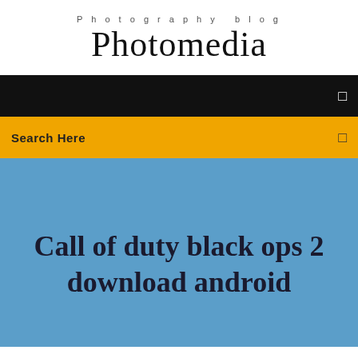Photography blog
Photomedia
[Figure (screenshot): Black navigation bar with a small white square icon on the right]
[Figure (screenshot): Yellow/amber search bar with 'Search Here' text on the left and a small icon on the right]
Call of duty black ops 2 download android